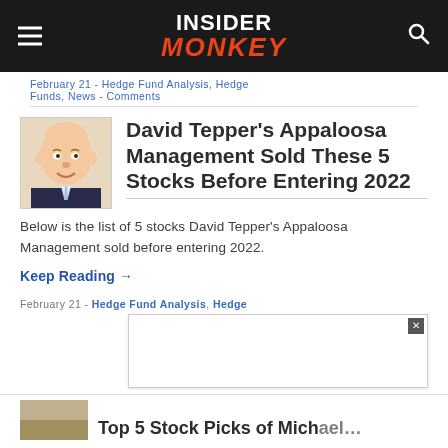INSIDER MONKEY
February 21 - Hedge Fund Analysis, Hedge Funds, News - Comments
[Figure (illustration): Caricature portrait of David Tepper in a square thumbnail]
David Tepper's Appaloosa Management Sold These 5 Stocks Before Entering 2022
Below is the list of 5 stocks David Tepper's Appaloosa Management sold before entering 2022.
Keep Reading →
February 21 - Hedge Fund Analysis, Hedge